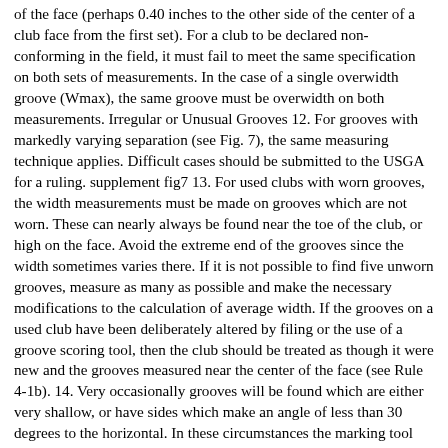of the face (perhaps 0.40 inches to the other side of the center of a club face from the first set). For a club to be declared non-conforming in the field, it must fail to meet the same specification on both sets of measurements. In the case of a single overwidth groove (Wmax), the same groove must be overwidth on both measurements. Irregular or Unusual Grooves 12. For grooves with markedly varying separation (see Fig. 7), the same measuring technique applies. Difficult cases should be submitted to the USGA for a ruling. supplement fig7 13. For used clubs with worn grooves, the width measurements must be made on grooves which are not worn. These can nearly always be found near the toe of the club, or high on the face. Avoid the extreme end of the grooves since the width sometimes varies there. If it is not possible to find five unworn grooves, measure as many as possible and make the necessary modifications to the calculation of average width. If the grooves on a used club have been deliberately altered by filing or the use of a groove scoring tool, then the club should be treated as though it were new and the grooves measured near the center of the face (see Rule 4-1b). 14. Very occasionally grooves will be found which are either very shallow, or have sides which make an angle of less than 30 degrees to the horizontal. In these circumstances the marking tool will not work properly and the club should be submitted to the USGA for a ruling, although if the grooves clearly conform, it may be possible to give a conforming ruling in the field.